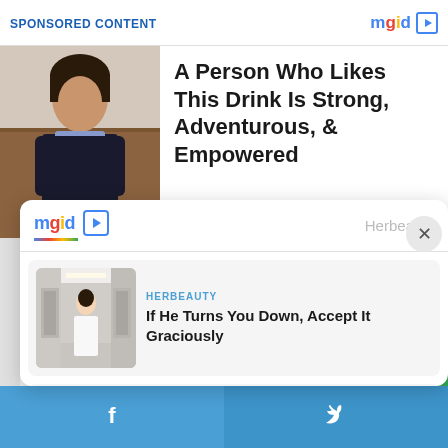SPONSORED CONTENT
[Figure (photo): Woman in dark clothing with blue scarf, hotel room background]
A Person Who Likes This Drink Is Strong, Adventurous, & Empowered
[Figure (logo): mgid logo with play button icon]
Herbeauty
HERBEAUTY
[Figure (photo): Woman in white outfit standing in hotel corridor]
If He Turns You Down, Accept It Graciously
BRAINBERRIES
[Figure (photo): White albino tiger and orange tiger in green jungle setting]
10 Albino Animals Who Look Like Ghosts